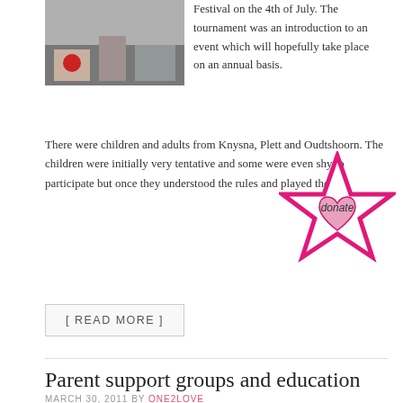[Figure (photo): Photo of a person bowling or playing a game, with a red ball visible]
Festival on the 4th of July. The tournament was an introduction to an event which will hopefully take place on an annual basis.  There were children and adults from Knysna, Plett and Oudtshoorn. The children were initially very tentative and some were even shy to participate but once they understood the rules and played the
[Figure (illustration): Pink star-shaped donate badge with text 'donate' and a heart in the center]
[ READ MORE ]
Parent support groups and education
MARCH 30, 2011 BY ONE2LOVE